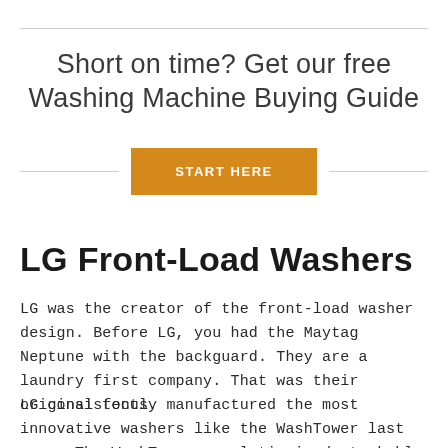Short on time? Get our free Washing Machine Buying Guide
START HERE
LG Front-Load Washers
LG was the creator of the front-load washer design. Before LG, you had the Maytag Neptune with the backguard. They are a laundry first company. That was their original focus.
LG consistently manufactured the most innovative washers like the WashTower last year. The WashTower revolutionized stackable laundry by